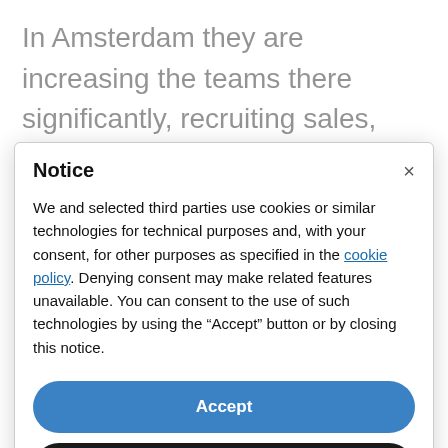In Amsterdam they are increasing the teams there significantly, recruiting sales, support, services and marketing functions. In the UK they are looking to double the number of staff. Recruitment for these
Notice
We and selected third parties use cookies or similar technologies for technical purposes and, with your consent, for other purposes as specified in the cookie policy. Denying consent may make related features unavailable. You can consent to the use of such technologies by using the “Accept” button or by closing this notice.
Accept
Learn more and customise